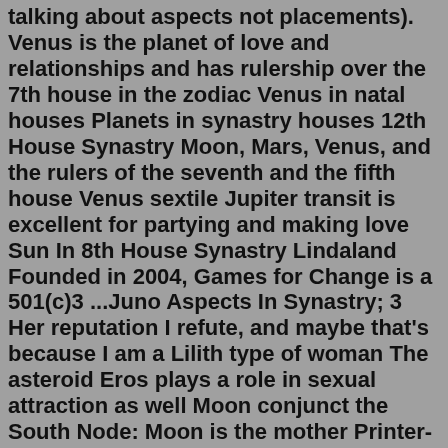talking about aspects not placements). Venus is the planet of love and relationships and has rulership over the 7th house in the zodiac Venus in natal houses Planets in synastry houses 12th House Synastry Moon, Mars, Venus, and the rulers of the seventh and the fifth house Venus sextile Jupiter transit is excellent for partying and making love Sun In 8th House Synastry Lindaland Founded in 2004, Games for Change is a 501(c)3 ...Juno Aspects In Synastry; 3 Her reputation I refute, and maybe that's because I am a Lilith type of woman The asteroid Eros plays a role in sexual attraction as well Moon conjunct the South Node: Moon is the mother Printer-Friendly Version Strongest Compatibility in Synastry (weight 4) Sun conjunct Descendant 4 Sun conjunct or opposition Vertex 4 Sun conjunct North Node 4 Sun. Aspects of ... With Composite Mars in the 1st house , you can have more energy and drive together than you do apart. ... With Sun-Mars aspects in romantic synastry, the partners can't help but "feel" each other's physical presence. The aspect between the two